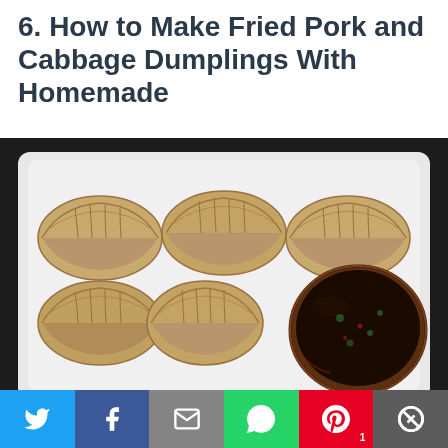6. How to Make Fried Pork and Cabbage Dumplings With Homemade
[Figure (photo): Overhead view of fried pork and cabbage dumplings arranged in a white styrofoam container with a small cup of dark dipping sauce on the right side.]
[Figure (infographic): Social media share bar with buttons for Twitter (blue), Facebook (dark blue), Email (gray), WhatsApp (green), Pinterest (red, showing count of 1), and More options (dark gray).]